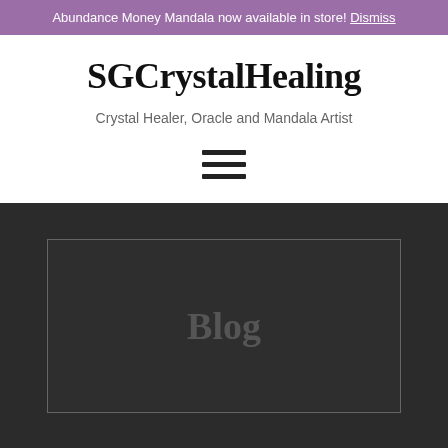Abundance Money Mandala now available in store! Dismiss
SGCrystalHealing
Crystal Healer, Oracle and Mandala Artist
[Figure (other): Hamburger menu icon with three horizontal lines]
[Figure (other): Dark rectangle with 'Blog' text in the center, bordered by a gray outline]